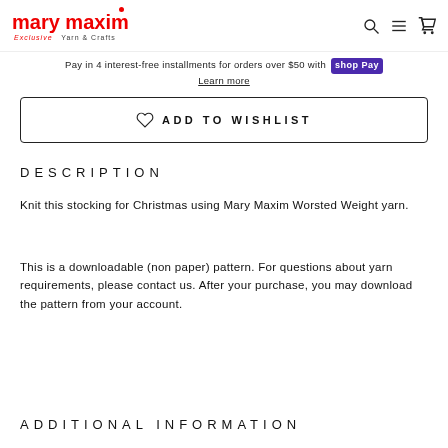mary maxim — Exclusive Yarn & Crafts
Pay in 4 interest-free installments for orders over $50 with Shop Pay
Learn more
ADD TO WISHLIST
DESCRIPTION
Knit this stocking for Christmas using Mary Maxim Worsted Weight yarn.
This is a downloadable (non paper) pattern. For questions about yarn requirements, please contact us. After your purchase, you may download the pattern from your account.
ADDITIONAL INFORMATION